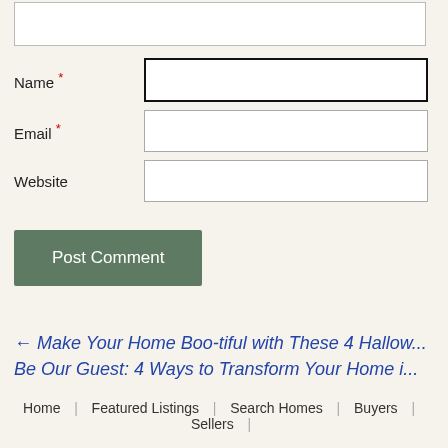Name *
Email *
Website
Post Comment
← Make Your Home Boo-tiful with These 4 Hallow... Be Our Guest: 4 Ways to Transform Your Home i...
Home  |  Featured Listings  |  Search Homes  |  Buyers  |  Sellers  |